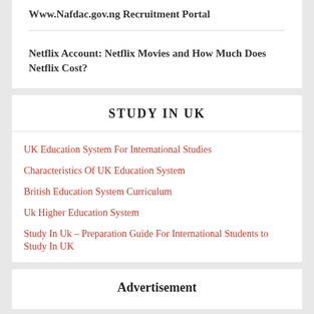Www.Nafdac.gov.ng Recruitment Portal
Netflix Account: Netflix Movies and How Much Does Netflix Cost?
STUDY IN UK
UK Education System For International Studies
Characteristics Of UK Education System
British Education System Curriculum
Uk Higher Education System
Study In Uk – Preparation Guide For International Students to Study In UK
Advertisement